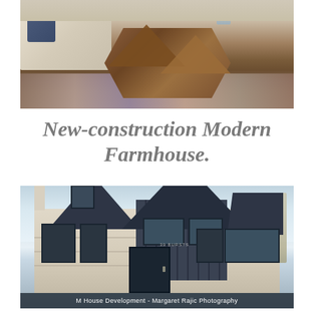[Figure (photo): Interior living room photo showing a light beige sofa on the left and a geometric wood coffee table (hexagonal/prismatic shape) in the center, on a patterned rug]
New-construction Modern Farmhouse.
[Figure (photo): Exterior photo of a new-construction modern farmhouse with white/cream stone facade, dark charcoal board-and-batten siding, multiple gabled rooflines with dark shingles, large black-framed windows, and a centered front entry door. Trees visible on the right side against a blue sky.]
M House Development - Margaret Rajic Photography